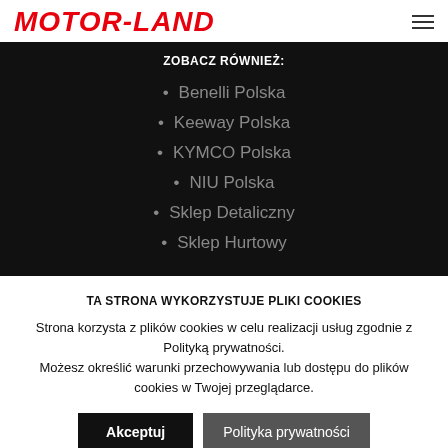[Figure (logo): Motor-Land logo in red italic bold text with hyphen]
ZOBACZ RÓWNIEŻ:
Benelli Polska
Keeway Polska
KYMCO Polska
NIU Polska
Sklep Detaliczny
Sklep Hurtowy
TA STRONA WYKORZYSTUJE PLIKI COOKIES
Strona korzysta z plików cookies w celu realizacji usług zgodnie z Polityką prywatności.
Możesz określić warunki przechowywania lub dostępu do plików cookies w Twojej przeglądarce.
Akceptuj | Polityka prywatności